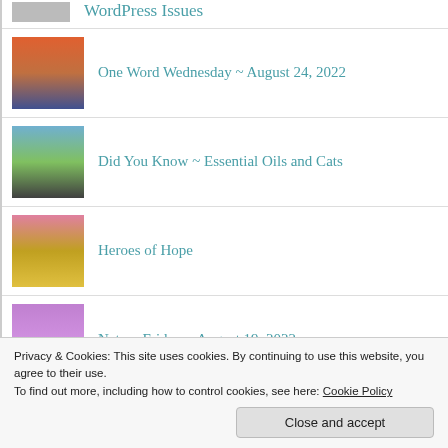WordPress Issues
One Word Wednesday ~ August 24, 2022
Did You Know ~ Essential Oils and Cats
Heroes of Hope
Nature Friday ~ August 19, 2022
Healthcare and Life Intersections
Privacy & Cookies: This site uses cookies. By continuing to use this website, you agree to their use.
To find out more, including how to control cookies, see here: Cookie Policy
Close and accept